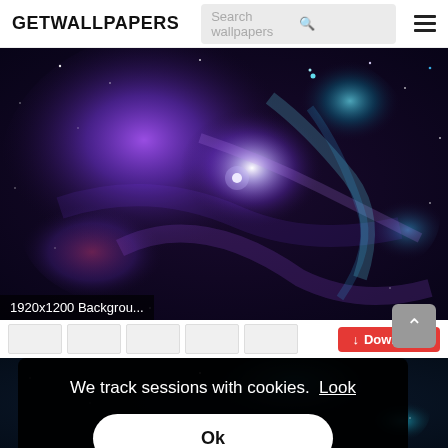GETWALLPAPERS
[Figure (screenshot): Galaxy/nebula space wallpaper, deep purple and blue cosmic clouds with stars, 1920x1200]
1920x1200 Backgrou...
Download
We track sessions with cookies. Look
Ok
[Figure (photo): Partial view of a teal/blue space cluster image at bottom of page]